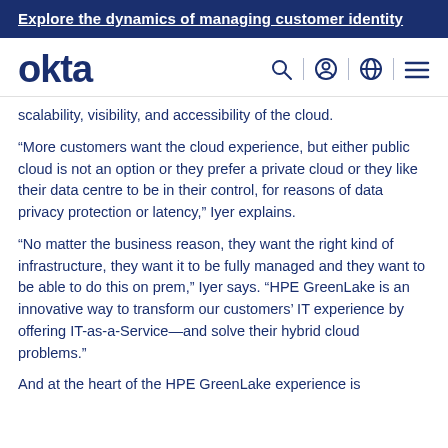Explore the dynamics of managing customer identity
[Figure (logo): Okta logo and navigation bar with search, user, globe, and menu icons]
scalability, visibility, and accessibility of the cloud.
“More customers want the cloud experience, but either public cloud is not an option or they prefer a private cloud or they like their data centre to be in their control, for reasons of data privacy protection or latency,” Iyer explains.
“No matter the business reason, they want the right kind of infrastructure, they want it to be fully managed and they want to be able to do this on prem,” Iyer says. “HPE GreenLake is an innovative way to transform our customers’ IT experience by offering IT-as-a-Service—and solve their hybrid cloud problems.”
And at the heart of the HPE GreenLake experience is